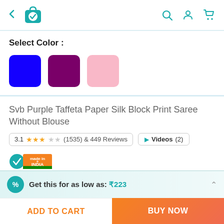[Figure (screenshot): E-commerce app top navigation bar with back arrow, shopping bag icon with checkmark, search icon, account icon, and cart icon]
Select Color :
[Figure (illustration): Three color swatches: blue, purple/magenta, and light pink]
Svb Purple Taffeta Paper Silk Block Print Saree Without Blouse
3.1 ★★★☆☆ (1535) & 449 Reviews
▶ Videos (2)
[Figure (logo): Made in India badge with teal checkmark circle and orange/green India flag ribbon]
₹249  MRP:₹1499  83% off
Inclusive of all taxes
Get this for as low as: ₹223
ADD TO CART
BUY NOW